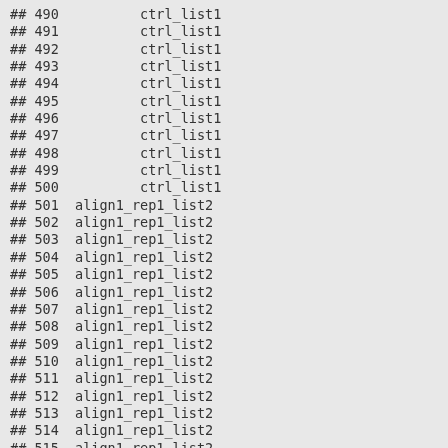## 490          ctrl_list1
## 491          ctrl_list1
## 492          ctrl_list1
## 493          ctrl_list1
## 494          ctrl_list1
## 495          ctrl_list1
## 496          ctrl_list1
## 497          ctrl_list1
## 498          ctrl_list1
## 499          ctrl_list1
## 500          ctrl_list1
## 501  align1_rep1_list2
## 502  align1_rep1_list2
## 503  align1_rep1_list2
## 504  align1_rep1_list2
## 505  align1_rep1_list2
## 506  align1_rep1_list2
## 507  align1_rep1_list2
## 508  align1_rep1_list2
## 509  align1_rep1_list2
## 510  align1_rep1_list2
## 511  align1_rep1_list2
## 512  align1_rep1_list2
## 513  align1_rep1_list2
## 514  align1_rep1_list2
## 515  align1_rep1_list2